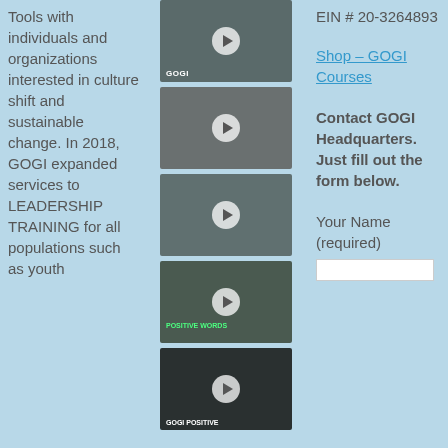Tools with individuals and organizations interested in culture shift and sustainable change. In 2018, GOGI expanded services to LEADERSHIP TRAINING for all populations such as youth
[Figure (photo): Video thumbnail 1 - person in dark shirt with GOGI label]
[Figure (photo): Video thumbnail 2 - woman with curly dark hair, play button overlay]
[Figure (photo): Video thumbnail 3 - woman with curly dark hair, play button overlay]
[Figure (photo): Video thumbnail 4 - man with text POSITIVE WORDS overlay]
[Figure (photo): Video thumbnail 5 - person in dark setting with GOGI POSITIVE label]
EIN # 20-3264893
Shop - GOGI Courses
Contact GOGI Headquarters. Just fill out the form below.
Your Name (required)